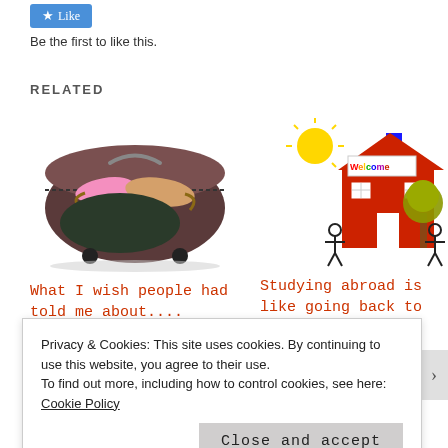[Figure (other): Like button with blue background and star icon]
Be the first to like this.
RELATED
[Figure (photo): Open overfilled suitcase with clothes and bags spilling out]
What I wish people had told me about....
April 7, 2011
[Figure (illustration): Cartoon illustration of a red school building with Welcome sign, sun, tree, and stick figure children]
Studying abroad is like going back to kindergarten
June 14, 2012
Privacy & Cookies: This site uses cookies. By continuing to use this website, you agree to their use.
To find out more, including how to control cookies, see here: Cookie Policy
Close and accept